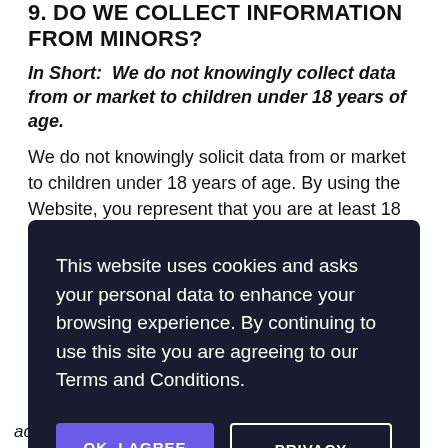9. DO WE COLLECT INFORMATION FROM MINORS?
In Short: We do not knowingly collect data from or market to children under 18 years of age.
We do not knowingly solicit data from or market to children under 18 years of age. By using the Website, you represent that you are at least 18 or that you are the parent or guardian of such a minor and consent to such minor dependent's use of the Website. If we learn that personal information from users less than 18 years of age has been collected, we will deactivate the account and take reasonable measures to promptly delete such data from our records. If you become aware of any data we have collected from children under age 18, please contact us at ...
[Figure (other): Cookie consent overlay with text: 'This website uses cookies and asks your personal data to enhance your browsing experience. By continuing to use this site you are agreeing to our Terms and Conditions.' with two buttons: 'OK, I AGREE' and 'PRIVACY POLICY']
access to and control over your personal information.